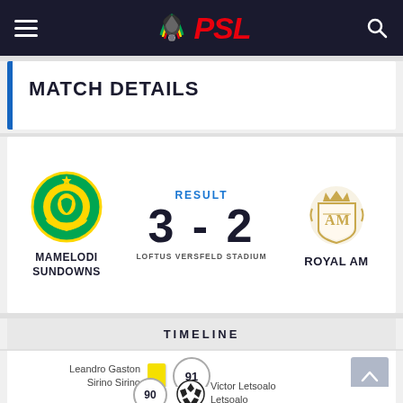PSL
MATCH DETAILS
RESULT
3 - 2
LOFTUS VERSFELD STADIUM
MAMELODI SUNDOWNS vs ROYAL AM
TIMELINE
Leandro Gaston Sirino Sirino  [yellow card]  91
90  [soccer ball]  Victor Letsoalo Letsoalo